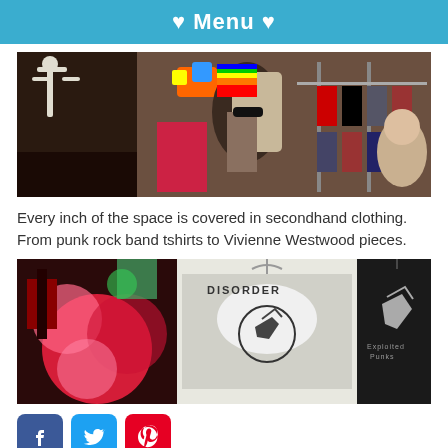♥ Menu ♥
[Figure (photo): Crowded secondhand clothing store with people browsing; skeleton decorations, colorful wigs, racks of clothing visible]
Every inch of the space is covered in secondhand clothing. From punk rock band tshirts to Vivienne Westwood pieces.
[Figure (photo): Close-up of punk rock band t-shirts and merchandise including a 'Disorder' shirt and another band shirt with a bird graphic]
[Figure (infographic): Social media sharing icons: Facebook, Twitter, Pinterest, LinkedIn]